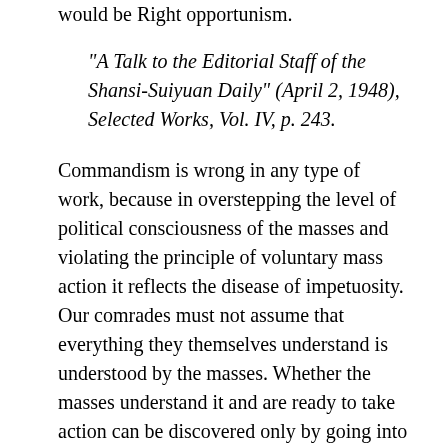would be Right opportunism.
"A Talk to the Editorial Staff of the Shansi-Suiyuan Daily" (April 2, 1948), Selected Works, Vol. IV, p. 243.
Commandism is wrong in any type of work, because in overstepping the level of political consciousness of the masses and violating the principle of voluntary mass action it reflects the disease of impetuosity. Our comrades must not assume that everything they themselves understand is understood by the masses. Whether the masses understand it and are ready to take action can be discovered only by going into their midst and making investigations. If we do so, we can avoid commandism.
Tailism in any type of work is also wrong, because in falling below the level of political consciousness of the masses and violating the principle of leading the